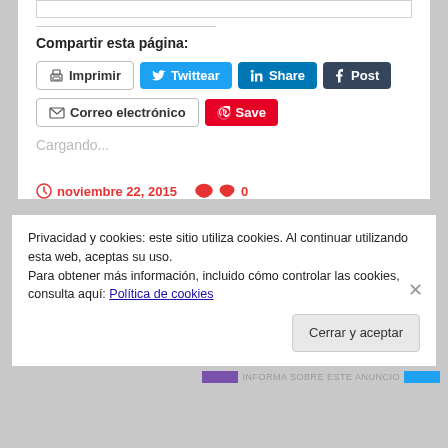Compartir esta página:
Imprimir
Twittear
Share
Post
Correo electrónico
Save
Cargando...
noviembre 22, 2015   0
Privacidad y cookies: este sitio utiliza cookies. Al continuar utilizando esta web, aceptas su uso.
Para obtener más información, incluido cómo controlar las cookies, consulta aquí: Política de cookies
Cerrar y aceptar